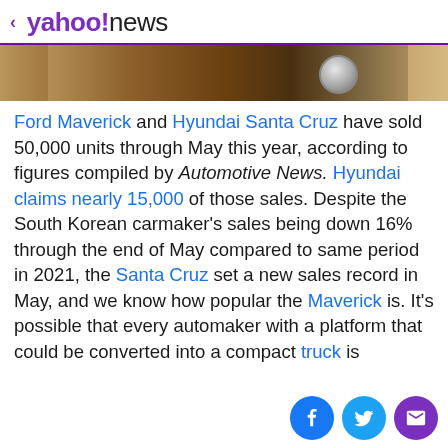< yahoo!news
[Figure (photo): Cropped hero image showing a vehicle/outdoor scene with brown/sandy tones and a chrome wheel visible]
Ford Maverick and Hyundai Santa Cruz have sold 50,000 units through May this year, according to figures compiled by Automotive News. Hyundai claims nearly 15,000 of those sales. Despite the South Korean carmaker's sales being down 16% through the end of May compared to same period in 2021, the Santa Cruz set a new sales record in May, and we know how popular the Maverick is. It's possible that every automaker with a platform that could be converted into a compact truck is